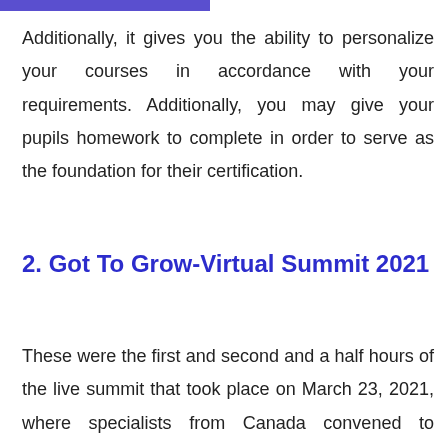Additionally, it gives you the ability to personalize your courses in accordance with your requirements. Additionally, you may give your pupils homework to complete in order to serve as the foundation for their certification.
2. Got To Grow-Virtual Summit 2021
These were the first and second and a half hours of the live summit that took place on March 23, 2021, where specialists from Canada convened to explore the link between diet and Canadian agriculture